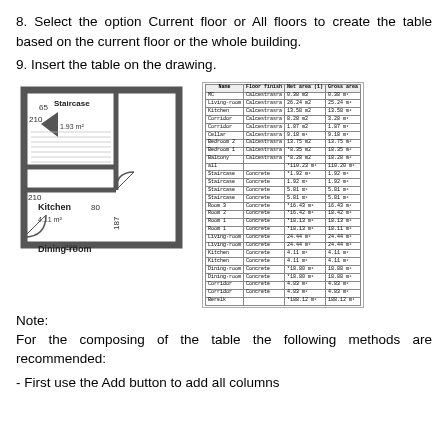8. Select the option Current floor or All floors to create the table based on the current floor or the whole building.
9. Insert the table on the drawing.
[Figure (engineering-diagram): Floor plan showing Staircase (labeled 65, 210, 1.93m²), Kitchen (labeled 80, 210, 187, 4.11m², 220), and Dining-room with thick walls and door arcs.]
[Figure (table-as-image): Small room schedule table listing rooms (MC, Living-room, Kitchen, Corridor, Cellar, Bedroom 2, Bedroom 1, Balcony, all, Staircase x4, Room 3, Room 2, Room 1 x2, Living-room x2, Kitchen x2, Dining-room x2, Corridor x2, Berelk) with Floor Finish, Net area, and Gross area columns.]
Note:
For the composing of the table the following methods are recommended:
- First use the Add button to add all columns